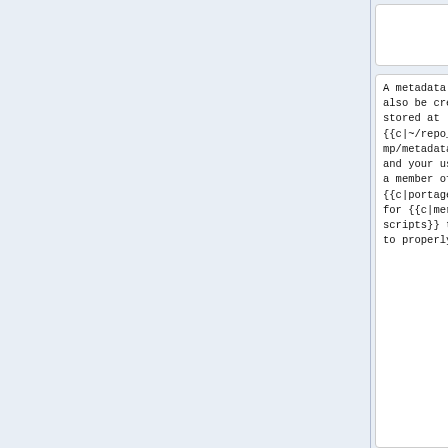A metadata cache will also be created and stored at {{c|~/repo_tmp/metadata-cache}}, and your user must be a member of the {{c|portage}} group for {{c|merge-all-scripts}} to be able to properly generate
A metadata cache will also be created and stored at {{c|~/repo_tmp/metadata-cache}}, and your user must be a member of the {{c|portage}} group for {{c|merge-all-scripts}} to be able to properly generate